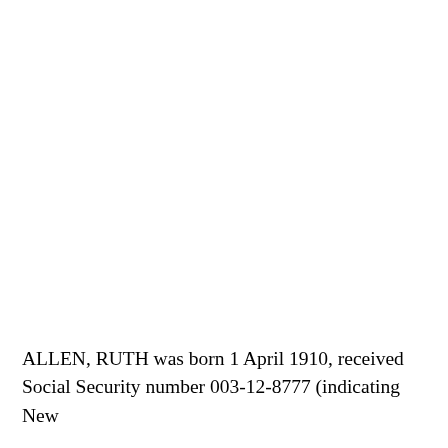ALLEN, RUTH was born 1 April 1910, received Social Security number 003-12-8777 (indicating New